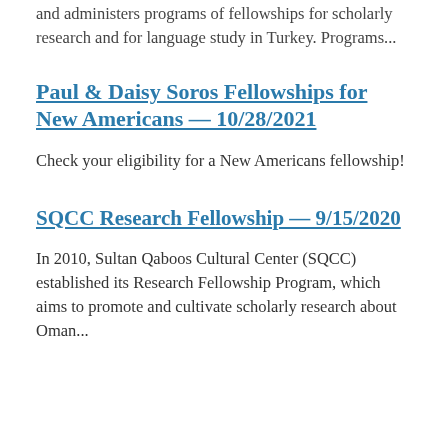and administers programs of fellowships for scholarly research and for language study in Turkey. Programs...
Paul & Daisy Soros Fellowships for New Americans — 10/28/2021
Check your eligibility for a New Americans fellowship!
SQCC Research Fellowship — 9/15/2020
In 2010, Sultan Qaboos Cultural Center (SQCC) established its Research Fellowship Program, which aims to promote and cultivate scholarly research about Oman...